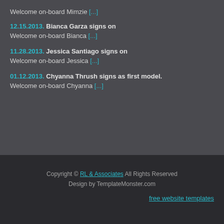Welcome on-board Mimzie [...]
12.15.2013. Bianca Garza signs on
Welcome on-board Bianca [...]
11.28.2013. Jessica Santiago signs on
Welcome on-board Jessica [...]
01.12.2013. Chyanna Thrush signs as first model.
Welcome on-board Chyanna [...]
Copyright © RL & Associates All Rights Reserved Design by TemplatMonster.com
free website templates